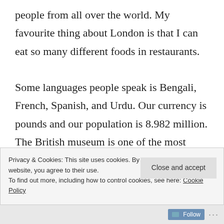people from all over the world. My favourite thing about London is that I can eat so many different foods in restaurants.

Some languages people speak is Bengali, French, Spanish, and Urdu. Our currency is pounds and our population is 8.982 million. The British museum is one of the most famous museum and it has the things that happened in the past and everyone goes there.Greenwich is a place where you can go to because you can do shopping there.
Privacy & Cookies: This site uses cookies. By continuing to use this website, you agree to their use.
To find out more, including how to control cookies, see here: Cookie Policy
Follow